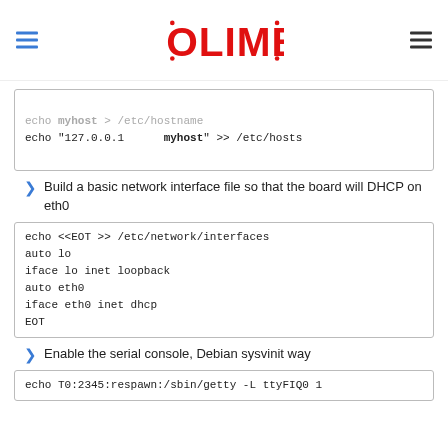OLIMEX
echo myhost > /etc/hostname
echo "127.0.0.1    myhost" >> /etc/hosts
Build a basic network interface file so that the board will DHCP on eth0
echo <<EOT >> /etc/network/interfaces
auto lo
iface lo inet loopback
auto eth0
iface eth0 inet dhcp
EOT
Enable the serial console, Debian sysvinit way
echo T0:2345:respawn:/sbin/getty -L ttyFIQ0 1